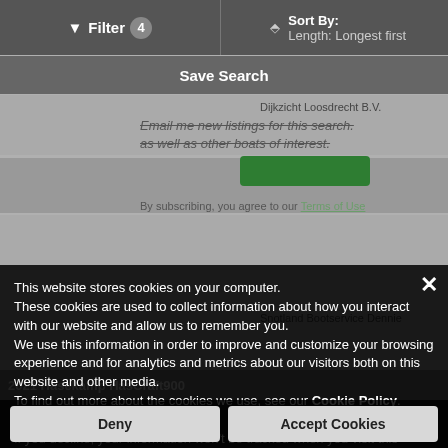Filter 4   Sort By: Length: Longest first
Save Search
Email me new listings for this search.
as well as other boats of interest.
By subscribing, you agree to our Terms of Use
This website stores cookies on your computer.
These cookies are used to collect information about how you interact with our website and allow us to remember you.
We use this information in order to improve and customize your browsing experience and for analytics and metrics about our visitors both on this website and other media.
To find out more about the cookies we use, see our Cookie Policy.
If you decline, your information won't be tracked when you visit this website.
A single cookie will be used in your browser to remember your preference not to be tracked.
Deny
Accept Cookies